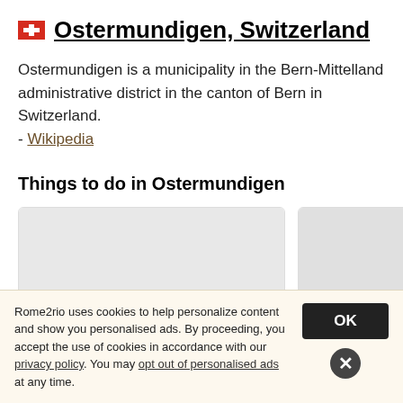Ostermundigen, Switzerland
Ostermundigen is a municipality in the Bern-Mittelland administrative district in the canton of Bern in Switzerland. - Wikipedia
Things to do in Ostermundigen
[Figure (photo): Placeholder image card 1 (gray rectangle)]
[Figure (photo): Placeholder image card 2 (gray rectangle) with 'Zentrum Paul Klee' label]
Rome2rio uses cookies to help personalize content and show you personalised ads. By proceeding, you accept the use of cookies in accordance with our privacy policy. You may opt out of personalised ads at any time.